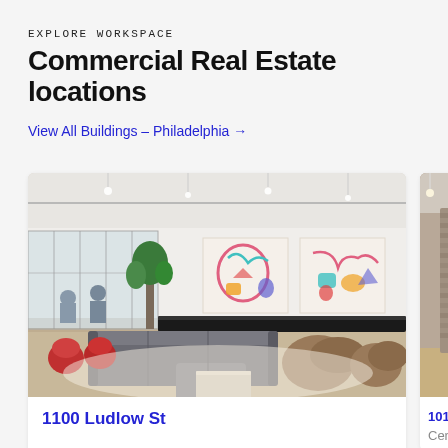EXPLORE WORKSPACE
Commercial Real Estate locations
View All Buildings – Philadelphia →
[Figure (photo): Interior photo of a modern co-working lounge space with grey modular sofas, red armchairs, colorful artwork on white wall, glass-walled offices in background, bright open-plan layout.]
1100 Ludlow St
[Figure (photo): Partial view of another co-working space interior showing an exposed brick column and warm lighting.]
1010 N
Center C